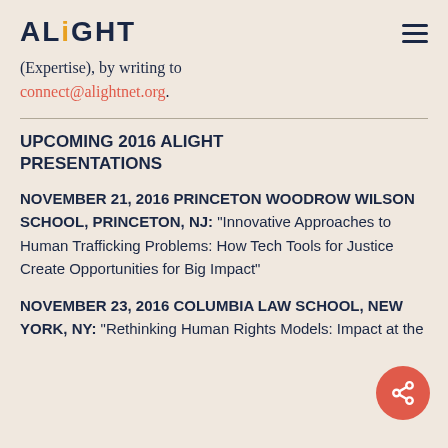ALIGHT
(Expertise), by writing to connect@alightnet.org.
UPCOMING 2016 ALIGHT PRESENTATIONS
NOVEMBER 21, 2016 PRINCETON WOODROW WILSON SCHOOL, PRINCETON, NJ: “Innovative Approaches to Human Trafficking Problems: How Tech Tools for Justice Create Opportunities for Big Impact”
NOVEMBER 23, 2016 COLUMBIA LAW SCHOOL, NEW YORK, NY: “Rethinking Human Rights Models: Impact at the